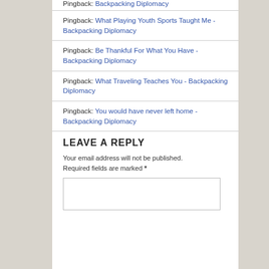Pingback: Backpacking Diplomacy
Pingback: What Playing Youth Sports Taught Me - Backpacking Diplomacy
Pingback: Be Thankful For What You Have - Backpacking Diplomacy
Pingback: What Traveling Teaches You - Backpacking Diplomacy
Pingback: You would have never left home - Backpacking Diplomacy
LEAVE A REPLY
Your email address will not be published. Required fields are marked *